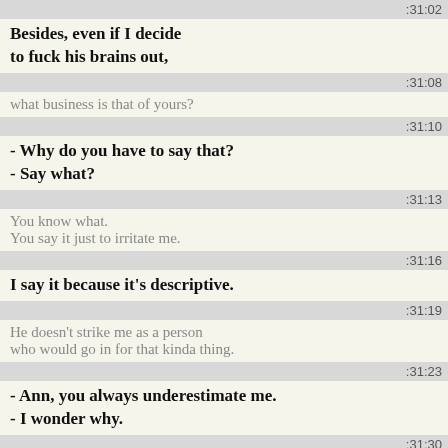:31:02
Besides, even if I decide to fuck his brains out,
:31:08
what business is that of yours?
:31:10
- Why do you have to say that?
- Say what?
:31:13
You know what.
You say it just to irritate me.
:31:16
I say it because it's descriptive.
:31:19
He doesn't strike me as a person who would go in for that kinda thing.
:31:23
- Ann, you always underestimate me.
- I wonder why.
:31:30
I think you're afraid to put us in the same room. You're afraid he'd be drawn to me.
:31:35